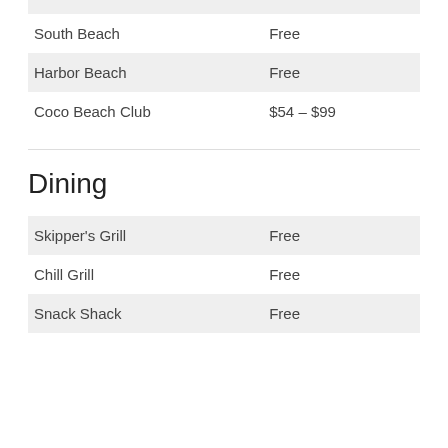|  |  |
| --- | --- |
| South Beach | Free |
| Harbor Beach | Free |
| Coco Beach Club | $54 – $99 |
Dining
|  |  |
| --- | --- |
| Skipper's Grill | Free |
| Chill Grill | Free |
| Snack Shack | Free |